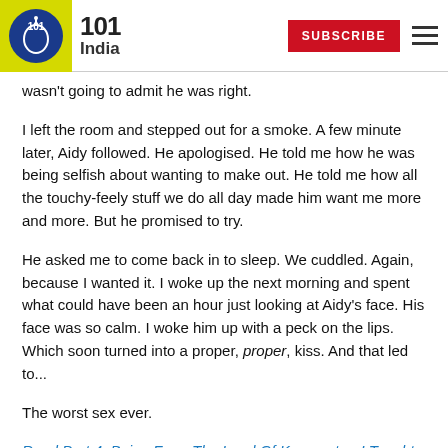101 India — SUBSCRIBE
wasn't going to admit he was right.
I left the room and stepped out for a smoke. A few minute later, Aidy followed. He apologised. He told me how he was being selfish about wanting to make out. He told me how all the touchy-feely stuff we do all day made him want me more and more. But he promised to try.
He asked me to come back in to sleep. We cuddled. Again, because I wanted it. I woke up the next morning and spent what could have been an hour just looking at Aidy's face. His face was so calm. I woke him up with a peck on the lips. Which soon turned into a proper, proper, kiss. And that led to...
The worst sex ever.
Read Part 4: Being From The Land Of Kamasutra, I Taught Him A Lesson Or Two